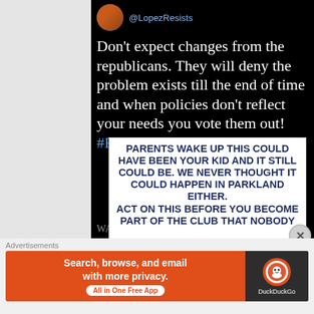[Figure (screenshot): Screenshot of a social media post by @LopezResists on a dark background with tweet text and a meme image below]
@LopezResists
Don't expect changes from the republicans. They will deny the problem exists till the end of time and when policies don't reflect your needs you vote them out! #FreshResists
[Figure (photo): White background meme image with dark blue bold text: PARENTS WAKE UP THIS COULD HAVE BEEN YOUR KID AND IT STILL COULD BE. WE NEVER THOUGHT IT COULD HAPPEN IN PARKLAND EITHER. ACT ON THIS BEFORE YOU BECOME PART OF THE CLUB THAT NOBODY WANTS TO BE PART OF]
Advertisements
[Figure (screenshot): DuckDuckGo advertisement banner with orange background. Text: Search, browse, and email with more privacy. All in One Free App. DuckDuckGo logo on dark right side.]